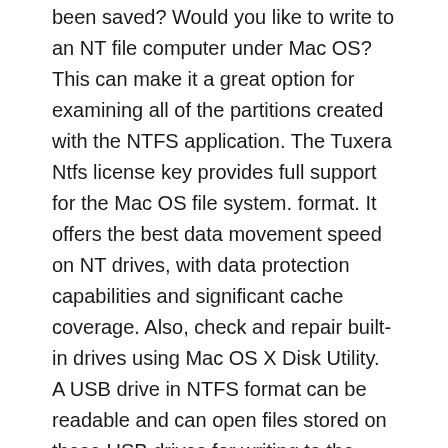been saved? Would you like to write to an NT file computer under Mac OS? This can make it a great option for examining all of the partitions created with the NTFS application. The Tuxera Ntfs license key provides full support for the Mac OS file system. format. It offers the best data movement speed on NT drives, with data protection capabilities and significant cache coverage. Also, check and repair built-in drives using Mac OS X Disk Utility. A USB drive in NTFS format can be readable and can open files stored on these USB drives for writing to the drive.
Tuxera NTFS Mac
Tuxera NTFS Mac features are given below: